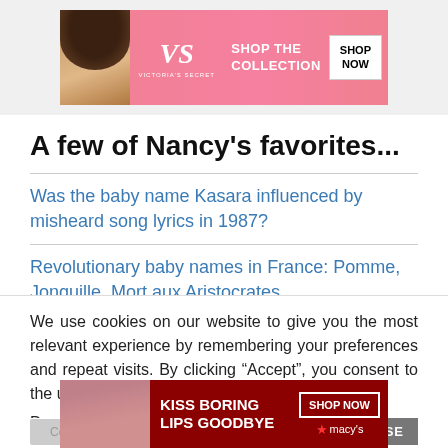[Figure (other): Victoria's Secret advertisement banner showing a model, VS logo, 'SHOP THE COLLECTION' text, and 'SHOP NOW' button on a pink background]
A few of Nancy's favorites...
Was the baby name Kasara influenced by misheard song lyrics in 1987?
Revolutionary baby names in France: Pomme, Jonquille, Mort aux Aristocrates,
We use cookies on our website to give you the most relevant experience by remembering your preferences and repeat visits. By clicking “Accept”, you consent to the use of ALL the cookies.
Do not sell my personal information.
[Figure (other): Macy's advertisement banner showing 'KISS BORING LIPS GOODBYE', a model, 'SHOP NOW' button, and Macy's star logo on a dark red background]